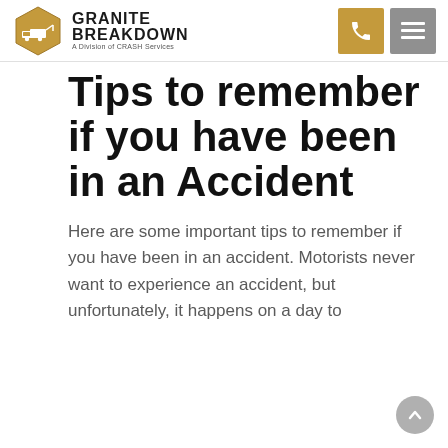[Figure (logo): Granite Breakdown logo — hexagon shape with tow truck icon in gold/brown, brand name GRANITE BREAKDOWN, tagline A Division of CRASH Services]
GRANITE BREAKDOWN — A Division of CRASH Services
Tips to remember if you have been in an Accident
Here are some important tips to remember if you have been in an accident. Motorists never want to experience an accident, but unfortunately, it happens on a day to